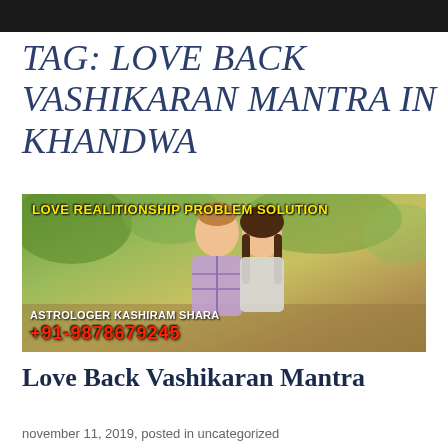TAG: LOVE BACK VASHIKARAN MANTRA IN KHANDWA
[Figure (photo): Banner image showing a couple smiling at each other outdoors with text overlays: 'LOVE REALITIONSHIP PROBLEM SOLUTION' in yellow at top, 'ASTROLOGER KASHIRAM SHARA' in white and '+91-9878679245' in red at bottom.]
Love Back Vashikaran Mantra
november 11, 2019, posted in uncategorized